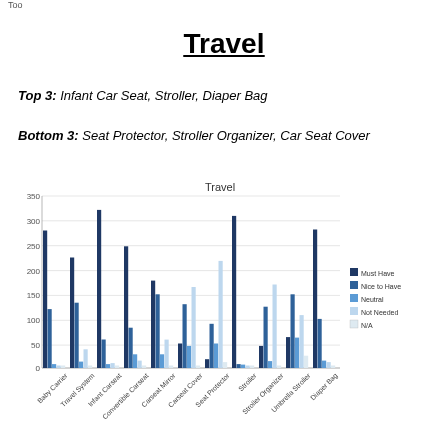Too
Travel
Top 3: Infant Car Seat, Stroller, Diaper Bag
Bottom 3: Seat Protector, Stroller Organizer, Car Seat Cover
[Figure (grouped-bar-chart): Travel]